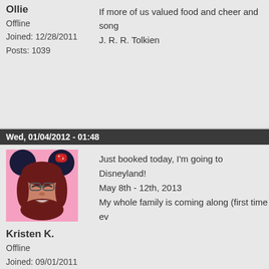Ollie
Offline
Joined: 12/28/2011
Posts: 1039
If more of us valued food and cheer and song
J. R. R. Tolkien
Wed, 01/04/2012 - 01:48
[Figure (illustration): Cartoon avatar of a woman with dark hair, glasses, and Minnie Mouse ears with a red bow, on a pink background]
Just booked today, I'm going to Disneyland!
May 8th - 12th, 2013
My whole family is coming along (first time ev
Kristen K.
Offline
Joined: 09/01/2011
Posts: 23803